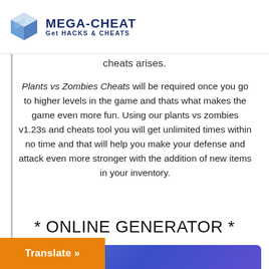[Figure (logo): Mega-Cheat logo with blue 3D cube icon and text MEGA-CHEAT Get HACKS & CHEATS]
cheats arises.
Plants vs Zombies Cheats will be required once you go to higher levels in the game and thats what makes the game even more fun. Using our plants vs zombies v1.23s and cheats tool you will get unlimited times within no time and that will help you make your defense and attack even more stronger with the addition of new items in your inventory.
* ONLINE GENERATOR *
[Figure (screenshot): Blue gradient button with text ONLINE GENERATOR]
Translate »